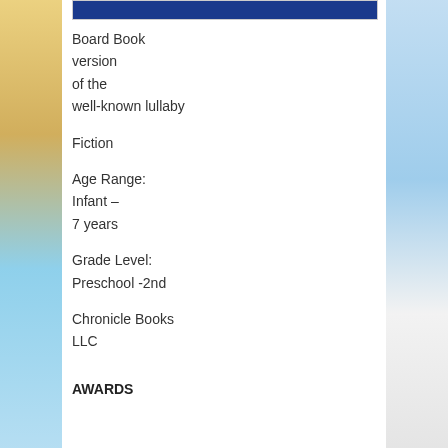[Figure (other): Blue banner bar at top of white content panel]
Board Book
version
of the
well-known lullaby
Fiction
Age Range:
Infant –
7 years
Grade Level:
Preschool -2nd
Chronicle Books
LLC
AWARDS